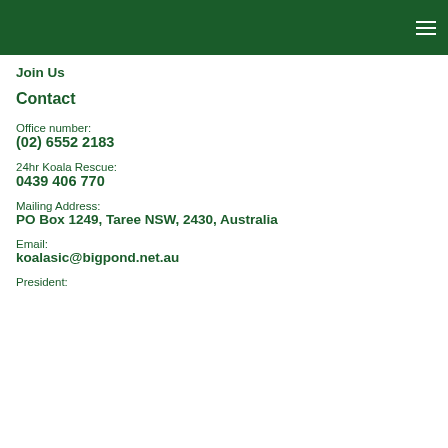Join Us
Contact
Office number:
(02) 6552 2183
24hr Koala Rescue:
0439 406 770
Mailing Address:
PO Box 1249, Taree NSW, 2430, Australia
Email:
koalasic@bigpond.net.au
President: